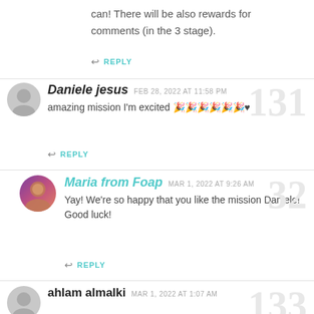can! There will be also rewards for comments (in the 3 stage).
↩ REPLY
Daniele jesus  FEB 28, 2022 AT 11:58 PM
amazing mission I'm excited 🎉🎉🎉🎉🎉🎉♥
↩ REPLY
Maria from Foap  MAR 1, 2022 AT 9:26 AM
Yay! We're so happy that you like the mission Daniele! Good luck!
↩ REPLY
ahlam almalki  MAR 1, 2022 AT 1:07 AM